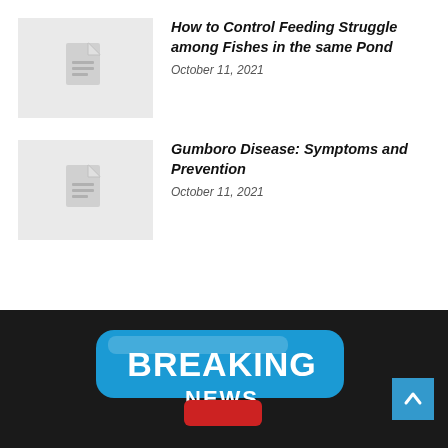[Figure (illustration): Thumbnail placeholder with document icon for article 1]
How to Control Feeding Struggle among Fishes in the same Pond
October 11, 2021
[Figure (illustration): Thumbnail placeholder with document icon for article 2]
Gumboro Disease: Symptoms and Prevention
October 11, 2021
[Figure (illustration): Breaking News banner logo at bottom of page on dark background]